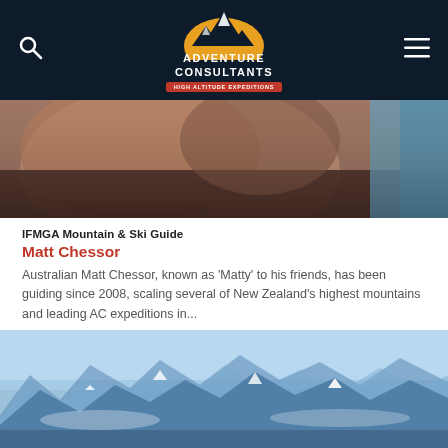[Figure (logo): Adventure Consultants logo — mountain silhouette in gold/orange with dark navy background, white bold text reading ADVENTURE CONSULTANTS, red banner tagline HIGH ALTITUDE EXPEDITIONS]
[Figure (photo): Close-up photo of a person's face/neck, blurred, with blue gear visible at right edge — appears to be a mountain guide outdoors]
IFMGA Mountain & Ski Guide
Matt Chessor
Australian Matt Chessor, known as 'Matty' to his friends, has been guiding since 2008, scaling several of New Zealand's highest mountains and leading AC expeditions in...
[Figure (photo): Aerial or high-altitude photo of snow-capped mountain range with blue sky, viewed from above with distant peaks stretching across the horizon]